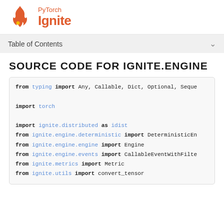[Figure (logo): PyTorch Ignite logo with flame icon and text 'PyTorch Ignite' in orange]
Table of Contents
SOURCE CODE FOR IGNITE.ENGINE
from typing import Any, Callable, Dict, Optional, Seque
import torch
import ignite.distributed as idist
from ignite.engine.deterministic import DeterministicEn
from ignite.engine.engine import Engine
from ignite.engine.events import CallableEventWithFilte
from ignite.metrics import Metric
from ignite.utils import convert_tensor